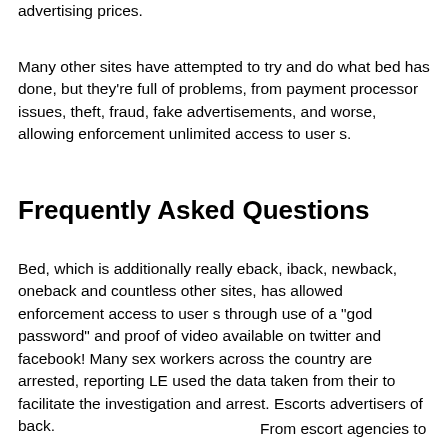advertising prices.
Many other sites have attempted to try and do what bed has done, but they're full of problems, from payment processor issues, theft, fraud, fake advertisements, and worse, allowing enforcement unlimited access to user s.
Frequently Asked Questions
Bed, which is additionally really eback, iback, newback, oneback and countless other sites, has allowed enforcement access to user s through use of a "god password" and proof of video available on twitter and facebook! Many sex workers across the country are arrested, reporting LE used the data taken from their to facilitate the investigation and arrest. Escorts advertisers of back.
From escort agencies to